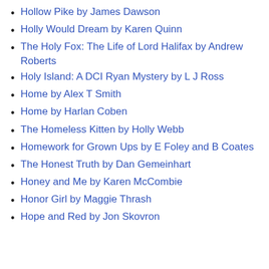Hollow Pike by James Dawson
Holly Would Dream by Karen Quinn
The Holy Fox: The Life of Lord Halifax by Andrew Roberts
Holy Island: A DCI Ryan Mystery by L J Ross
Home by Alex T Smith
Home by Harlan Coben
The Homeless Kitten by Holly Webb
Homework for Grown Ups by E Foley and B Coates
The Honest Truth by Dan Gemeinhart
Honey and Me by Karen McCombie
Honor Girl by Maggie Thrash
Hope and Red by Jon Skovron